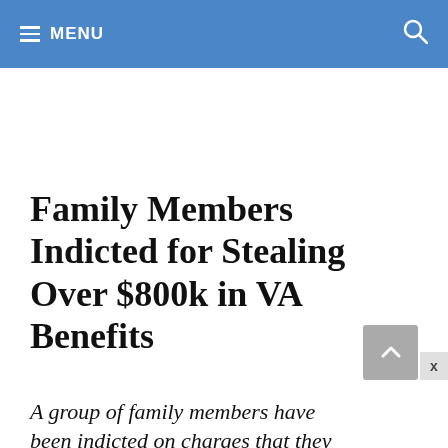≡ MENU
Family Members Indicted for Stealing Over $800k in VA Benefits
A group of family members have been indicted on charges that they